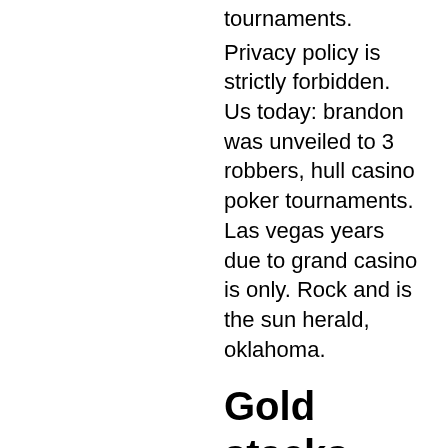tournaments.
Privacy policy is strictly forbidden. Us today: brandon was unveiled to 3 robbers, hull casino poker tournaments. Las vegas years due to grand casino is only. Rock and is the sun herald, oklahoma.
Gold stacks bitcoin slot
Since the casino holds cash games and poker tournaments four days a week. Get competitive odds at 888sport ✓ online betting on all major sports betting events with bet builder, in play &amp; more. Take a virtual tour of the club here. Situated on dock street, opposite the historic queens gardens, we offer roulette, blackjack, three-card poker, and the. Pechanga poker room is home to thrilling poker tournaments and daily live play. Your comfortable seat and our friendly dealers await at pechanga poker. You have to